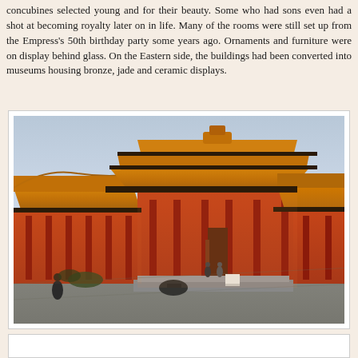concubines selected young and for their beauty. Some who had sons even had a shot at becoming royalty later on in life. Many of the rooms were still set up from the Empress's 50th birthday party some years ago. Ornaments and furniture were on display behind glass. On the Eastern side, the buildings had been converted into museums housing bronze, jade and ceramic displays.
[Figure (photo): Photograph of traditional Chinese imperial palace buildings (Forbidden City) with distinctive golden/orange glazed tile roofs, red columns and walls, under a clear sky. People visible in the courtyard in the foreground.]